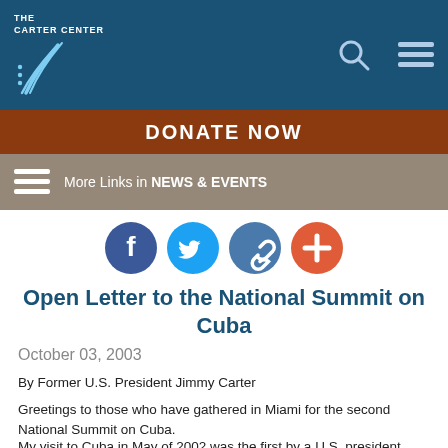THE CARTER CENTER
[Figure (logo): Carter Center logo with stylized eagle and 'THE CARTER CENTER' text, search icon, and hamburger menu icon on blue background]
DONATE NOW
More Links in NEWS & EVENTS
[Figure (infographic): Social sharing icons: Facebook (dark blue), Twitter (blue), link/chain (blue-gray), plus/share (red-orange)]
Open Letter to the National Summit on Cuba
October 03, 2003
By Former U.S. President Jimmy Carter
Greetings to those who have gathered in Miami for the second National Summit on Cuba.
My visit to Cuba in May of 2002 was the first by a U.S. president